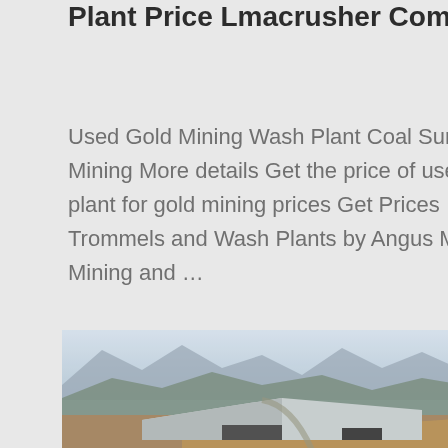Plant Price Lmacrusher Com
Used Gold Mining Wash Plant Coal Surface Mining More details Get the price of used wash plant for gold mining prices Get Prices Trommels and Wash Plants by Angus MacKirk Mining and …
[Figure (photo): Aerial view of a mining facility with a large corrugated metal roof structure in a mountainous valley, with muddy water visible and mountain ridges in the background under a hazy sky.]